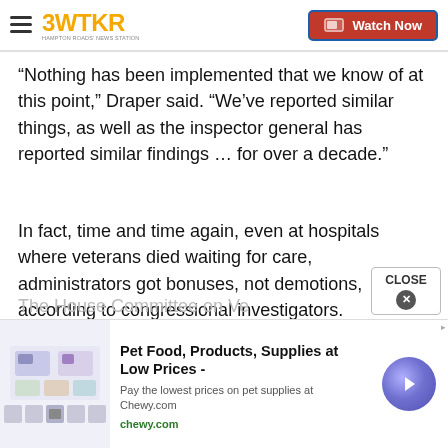3WTKR | Watch Now
“Nothing has been implemented that we know of at this point,” Draper said. “We’ve reported similar things, as well as the inspector general has reported similar findings … for over a decade.”
In fact, time and time again, even at hospitals where veterans died waiting for care, administrators got bonuses, not demotions, according to congressional investigators.
The House Committee on Veterans’ Affairs has...
[Figure (screenshot): Advertisement banner for Chewy.com pet food and supplies at low prices, with product images and a purple arrow button]